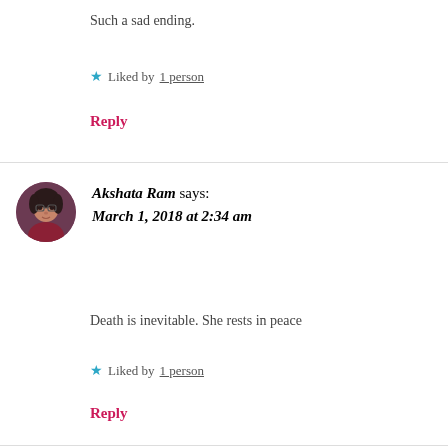Such a sad ending.
Liked by 1 person
Reply
[Figure (photo): Circular avatar photo of Akshata Ram, a woman with glasses and dark hair, wearing a red outfit.]
Akshata Ram says: March 1, 2018 at 2:34 am
Death is inevitable. She rests in peace
Liked by 1 person
Reply